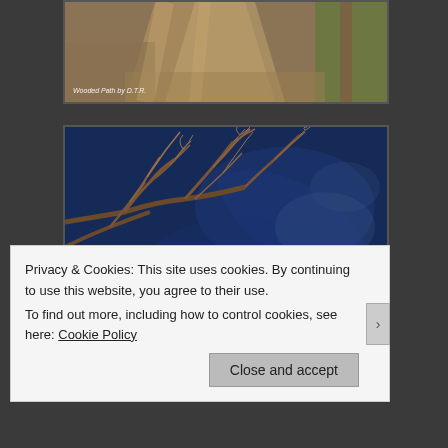[Figure (photo): Woodland path covered in autumn leaves with a tree trunk visible on the right side, sunlight filtering through. Caption reads 'Wooded Path by D.T.R.']
[Figure (photo): Bare tree branches reflected in or photographed against a deep blue body of water, with green vegetation visible on the lower left.]
Privacy & Cookies: This site uses cookies. By continuing to use this website, you agree to their use.
To find out more, including how to control cookies, see here: Cookie Policy
Close and accept